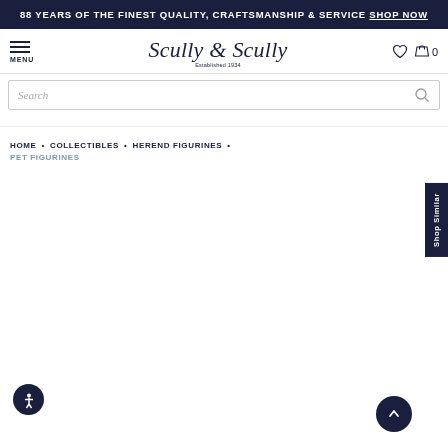88 YEARS OF THE FINEST QUALITY, CRAFTSMANSHIP & SERVICE SHOP NOW
[Figure (logo): Scully & Scully Established 1934 logo in italic serif font]
Search
HOME • COLLECTIBLES • HEREND FIGURINES • PET FIGURINES
[Figure (other): Shop Similar vertical tab on right side]
[Figure (other): Accessibility icon button (person in circle) bottom left]
[Figure (other): Scroll to top arrow button bottom right]